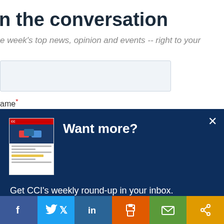n the conversation
e week's top news, opinion and events -- right to your
[Figure (screenshot): Email input field (light blue/grey box)]
ame*
[Figure (screenshot): Popup overlay on dark blue background with newsletter thumbnail, 'Want more?' heading, body text 'Get CCI's weekly round-up in your inbox. Unsubscribe anytime.' and a 'Let's do this!' button]
[Figure (infographic): Social sharing bar with Facebook, Twitter, LinkedIn, Print, Email, and Share buttons]